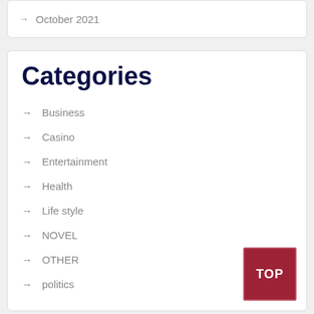→ October 2021
Categories
→ Business
→ Casino
→ Entertainment
→ Health
→ Life style
→ NOVEL
→ OTHER
→ politics